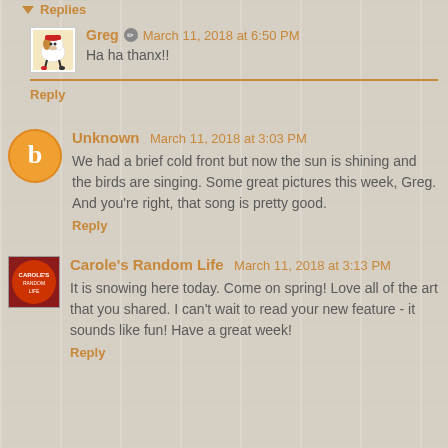Replies
Greg · March 11, 2018 at 6:50 PM
Ha ha thanx!!
Reply
Unknown March 11, 2018 at 3:03 PM
We had a brief cold front but now the sun is shining and the birds are singing. Some great pictures this week, Greg. And you're right, that song is pretty good.
Reply
Carole's Random Life March 11, 2018 at 3:13 PM
It is snowing here today. Come on spring! Love all of the art that you shared. I can't wait to read your new feature - it sounds like fun! Have a great week!
Reply